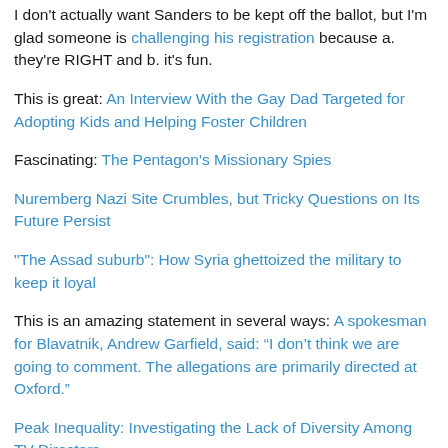I don't actually want Sanders to be kept off the ballot, but I'm glad someone is challenging his registration because a. they're RIGHT and b. it's fun.
This is great: An Interview With the Gay Dad Targeted for Adopting Kids and Helping Foster Children
Fascinating: The Pentagon's Missionary Spies
Nuremberg Nazi Site Crumbles, but Tricky Questions on Its Future Persist
"The Assad suburb": How Syria ghettoized the military to keep it loyal
This is an amazing statement in several ways: A spokesman for Blavatnik, Andrew Garfield, said: “I don’t think we are going to comment. The allegations are primarily directed at Oxford.”
Peak Inequality: Investigating the Lack of Diversity Among TV Directors